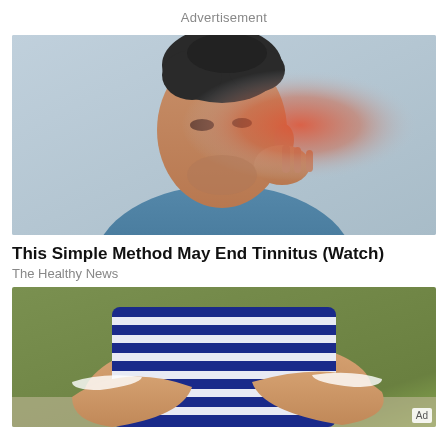Advertisement
[Figure (photo): Man grimacing in pain touching his ear with a red glow around his ear area, suggesting tinnitus pain, wearing a blue t-shirt against a light blue background]
This Simple Method May End Tinnitus (Watch)
The Healthy News
[Figure (photo): Man with arms crossed wearing a blue and white striped shirt, cropped view of torso and arms, green background visible]
Ad